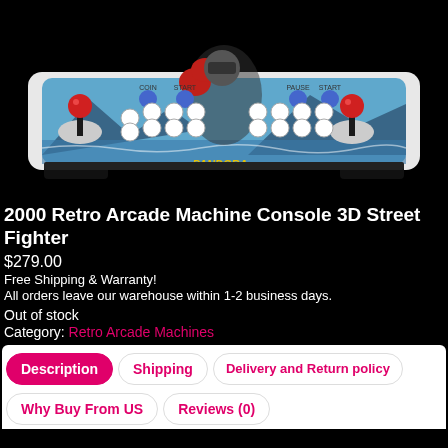[Figure (photo): Pandora arcade stick controller with Street Fighter artwork, two red joysticks, white buttons, labeled COIN, START, PAUSE START]
2000 Retro Arcade Machine Console 3D Street Fighter
$279.00
Free Shipping & Warranty!
All orders leave our warehouse within 1-2 business days.
Out of stock
Category: Retro Arcade Machines
Description
Shipping
Delivery and Return policy
Why Buy From US
Reviews (0)